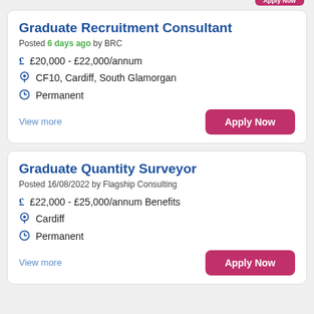Graduate Recruitment Consultant
Posted 6 days ago by BRC
£20,000 - £22,000/annum
CF10, Cardiff, South Glamorgan
Permanent
View more
Graduate Quantity Surveyor
Posted 16/08/2022 by Flagship Consulting
£22,000 - £25,000/annum Benefits
Cardiff
Permanent
View more